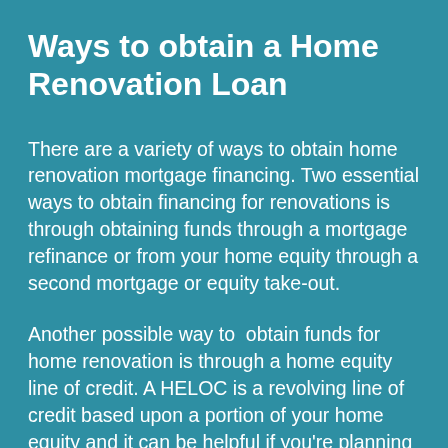Ways to obtain a Home Renovation Loan
There are a variety of ways to obtain home renovation mortgage financing. Two essential ways to obtain financing for renovations is through obtaining funds through a mortgage refinance or from your home equity through a second mortgage or equity take-out.
Another possible way to  obtain funds for home renovation is through a home equity line of credit. A HELOC is a revolving line of credit based upon a portion of your home equity and it can be helpful if you're planning a variety of home renovations over the coming years, allowing you to borrow whenever and whatever